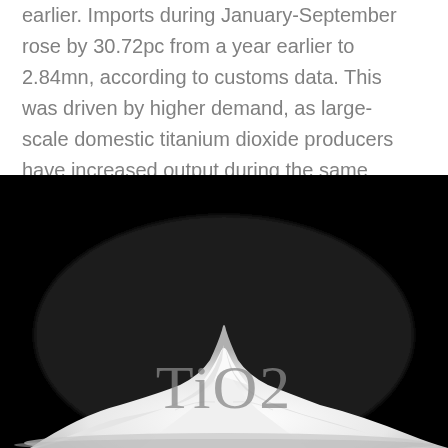earlier. Imports during January-September rose by 30.72pc from a year earlier to 2.84mn, according to customs data. This was driven by higher demand, as large-scale domestic titanium dioxide producers have increased output during the same period prompted by a rise in dioxide prices.
[Figure (photo): A pile of white TiO2 (titanium dioxide) powder against a black background, with 'TiO2' text watermark overlaid in gray on the lower portion of the image.]